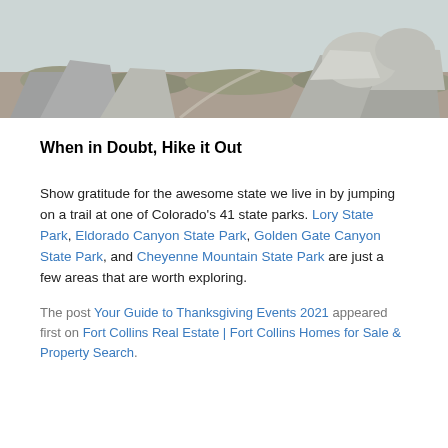[Figure (photo): Outdoor nature photo showing rocky terrain with shrubs and boulders in a muted, wintry landscape.]
When in Doubt, Hike it Out
Show gratitude for the awesome state we live in by jumping on a trail at one of Colorado's 41 state parks. Lory State Park, Eldorado Canyon State Park, Golden Gate Canyon State Park, and Cheyenne Mountain State Park are just a few areas that are worth exploring.
The post Your Guide to Thanksgiving Events 2021 appeared first on Fort Collins Real Estate | Fort Collins Homes for Sale & Property Search.